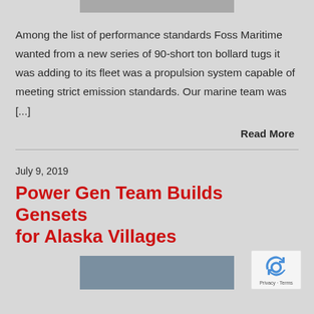[Figure (photo): Partial image of a vessel or tug boat at the top of the page]
Among the list of performance standards Foss Maritime wanted from a new series of 90-short ton bollard tugs it was adding to its fleet was a propulsion system capable of meeting strict emission standards. Our marine team was [...]
Read More
July 9, 2019
Power Gen Team Builds Gensets for Alaska Villages
[Figure (photo): Partial image at the bottom of the page showing equipment related to gensets]